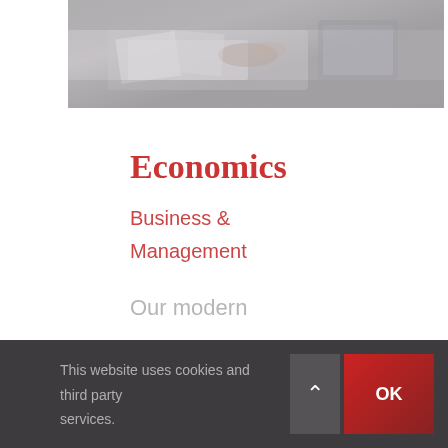[Figure (photo): Photo of a person working at a desk with documents and a tablet, viewed from above at an angle, in muted grey tones]
Economics
Business & Management
Our modern institution is interested in cultivating
This website uses cookies and third party services. OK